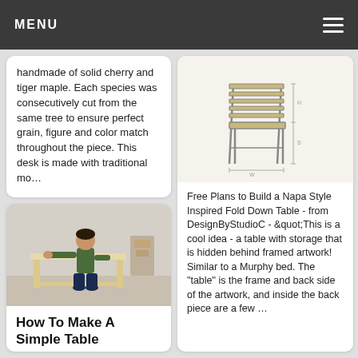MENU
handmade of solid cherry and tiger maple. Each species was consecutively cut from the same tree to ensure perfect grain, figure and color match throughout the piece. This desk is made with traditional mo…
[Figure (illustration): Engineering-style line drawing of a chair with dimension lines]
Free Plans to Build a Napa Style Inspired Fold Down Table - from DesignByStudioC - &quot;This is a cool idea - a table with storage that is hidden behind framed artwork! Similar to a Murphy bed. The "table" is the frame and back side of the artwork, and inside the back piece are a few …
[Figure (photo): Photo of a person kneeling next to a simple wooden table in a workshop]
How To Make A Simple Table